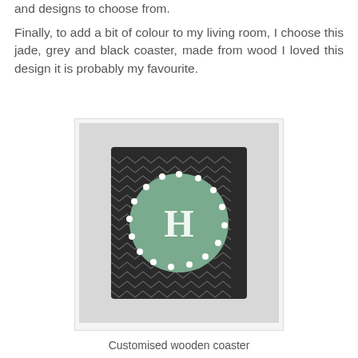and designs to choose from.
Finally, to add a bit of colour to my living room, I choose this jade, grey and black coaster, made from wood I loved this design it is probably my favourite.
[Figure (photo): A square wooden coaster with a black and white chevron zigzag pattern, featuring a jade/green circle in the center with white polka dots around the border and the letter H in the middle.]
Customised wooden coaster